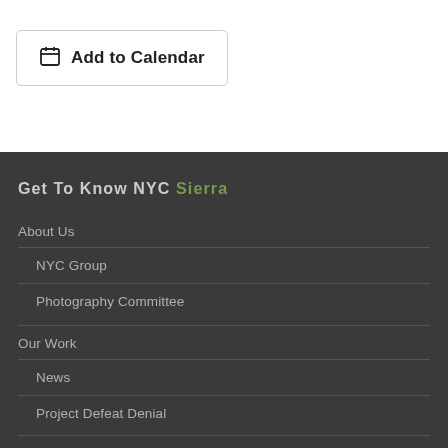Add to Calendar
Get To Know NYC Sierra
About Us
NYC Group
Photography Committee
Our Work
News
Project Defeat Denial
Events